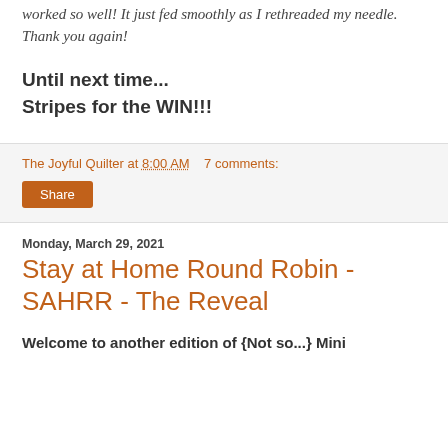worked so well! It just fed smoothly as I rethreaded my needle. Thank you again!
Until next time...
Stripes for the WIN!!!
The Joyful Quilter at 8:00 AM   7 comments:
Share
Monday, March 29, 2021
Stay at Home Round Robin - SAHRR - The Reveal
Welcome to another edition of {Not so...} Mini